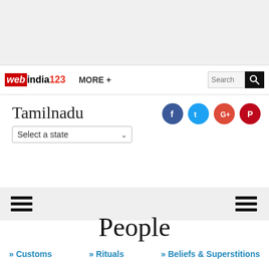webindia123 MORE + Search
Tamilnadu
Select a state
People
» Customs
» Rituals
» Beliefs & Superstitions